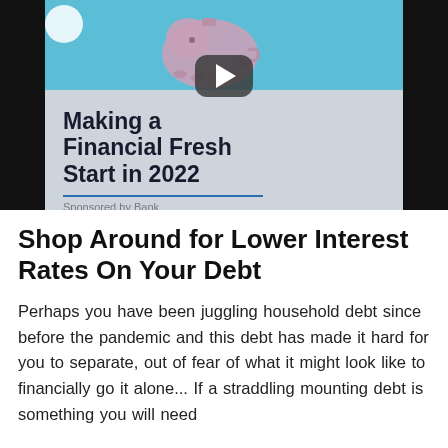[Figure (screenshot): Video thumbnail for 'Making a Financial Fresh Start in 2022'. Shows a piggy bank image at top on a teal/blue background, a YouTube-style play button in the center, bold dark text reading 'Making a Financial Fresh Start in 2022', and a blue horizontal line below the title.]
Shop Around for Lower Interest Rates On Your Debt
Perhaps you have been juggling household debt since before the pandemic and this debt has made it hard for you to separate, out of fear of what it might look like to financially go it alone... If a straddling mounting debt is something you will need